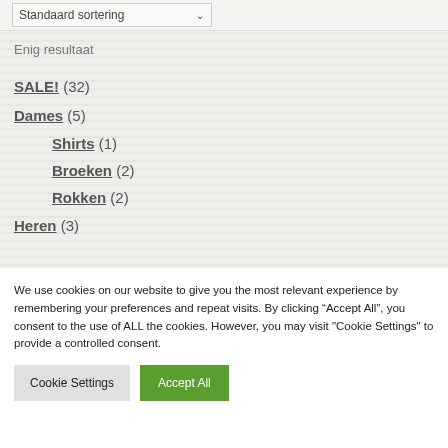Standaard sortering
Enig resultaat
SALE! (32)
Dames (5)
Shirts (1)
Broeken (2)
Rokken (2)
Heren (3)
We use cookies on our website to give you the most relevant experience by remembering your preferences and repeat visits. By clicking “Accept All”, you consent to the use of ALL the cookies. However, you may visit "Cookie Settings" to provide a controlled consent.
Cookie Settings
Accept All